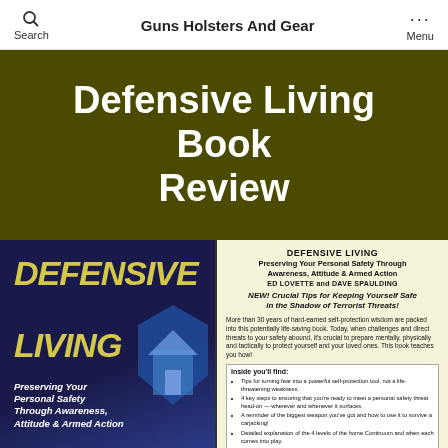Guns Holsters And Gear
Defensive Living Book Review
[Figure (photo): Book cover and back panel of 'Defensive Living: Preserving Your Personal Safety Through Awareness, Attitude & Armed Action' by Ed Lovette and Dave Spaulding. Left side shows the front cover with large yellow italic text on dark blue background. Right side shows the back cover on cream/yellow background with description text, bullet points about what readers will find inside, and home protection questions.]